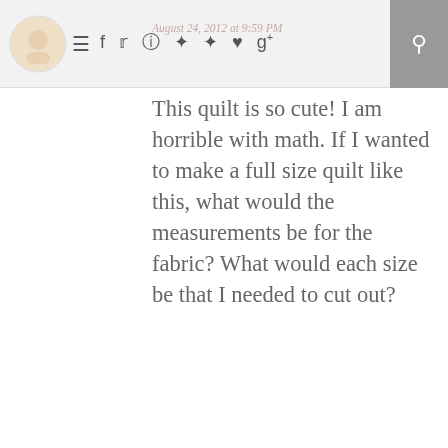Navigation bar with logo, hamburger menu, social icons (f, twitter, instagram, pinterest, pinterest, heart, g+), and search button
August 24, 2012 at 9:59 PM
This quilt is so cute! I am horrible with math. If I wanted to make a full size quilt like this, what would the measurements be for the fabric? What would each size be that I needed to cut out?
Reply
MAUIRIZARRY
September 15, 2012 at 4:26 PM
Have made rag quilts with squares but this looks so much easier and faster to make!